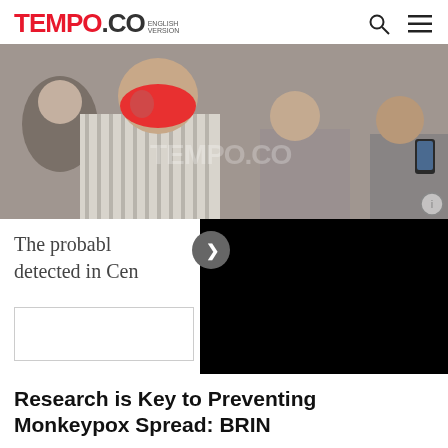TEMPO.CO ENGLISH VERSION
[Figure (photo): A man wearing a red/pink face mask in a striped shirt, surrounded by other people, one holding a smartphone. A TEMPO.CO watermark is visible on the photo.]
The probabl... detected in Cen...
Research is Key to Preventing Monkeypox Spread: BRIN
15 hari lalu